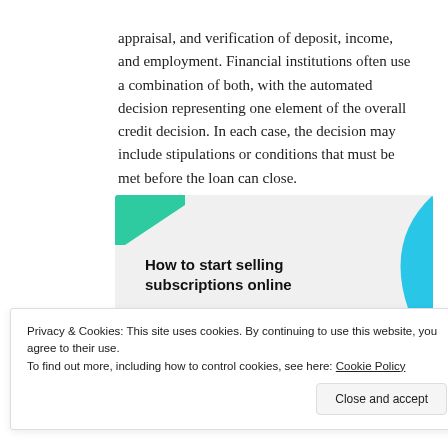appraisal, and verification of deposit, income, and employment. Financial institutions often use a combination of both, with the automated decision representing one element of the overall credit decision. In each case, the decision may include stipulations or conditions that must be met before the loan can close.
[Figure (infographic): Advertisement banner with teal and blue decorative shapes. Bold text reads 'How to start selling subscriptions online'. A purple button labeled 'Start a new store' is visible at the bottom.]
Privacy & Cookies: This site uses cookies. By continuing to use this website, you agree to their use.
To find out more, including how to control cookies, see here: Cookie Policy
Close and accept